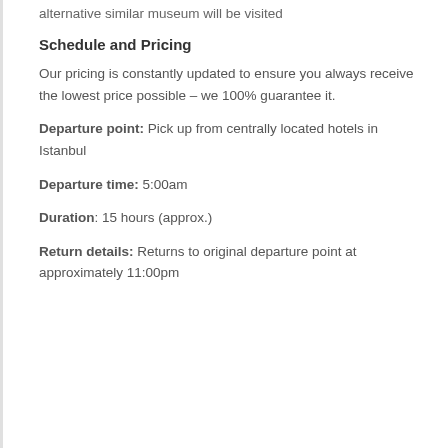alternative similar museum will be visited
Schedule and Pricing
Our pricing is constantly updated to ensure you always receive the lowest price possible – we 100% guarantee it.
Departure point: Pick up from centrally located hotels in Istanbul
Departure time: 5:00am
Duration: 15 hours (approx.)
Return details: Returns to original departure point at approximately 11:00pm